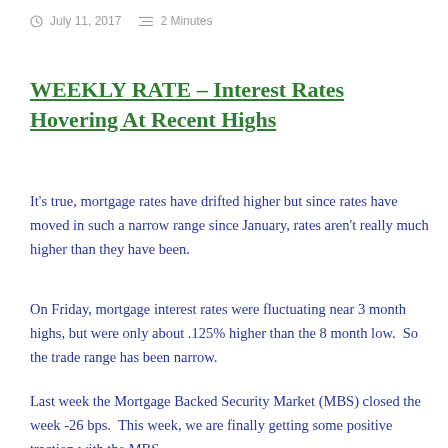July 11, 2017   2 Minutes
WEEKLY RATE – Interest Rates Hovering At Recent Highs
It's true, mortgage rates have drifted higher but since rates have moved in such a narrow range since January, rates aren't really much higher than they have been.
On Friday, mortgage interest rates were fluctuating near 3 month highs, but were only about .125% higher than the 8 month low.  So the trade range has been narrow.
Last week the Mortgage Backed Security Market (MBS) closed the week -26 bps.  This week, we are finally getting some positive traction with the MBS